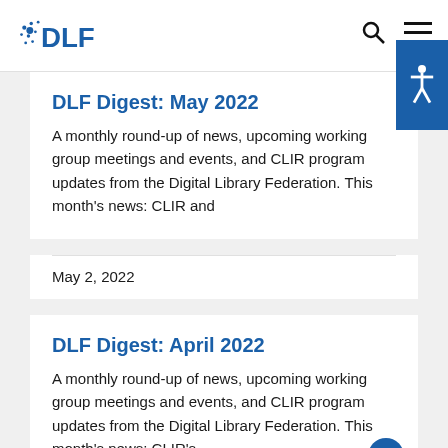DLF
DLF Digest: May 2022
A monthly round-up of news, upcoming working group meetings and events, and CLIR program updates from the Digital Library Federation. This month's news: CLIR and
May 2, 2022
DLF Digest: April 2022
A monthly round-up of news, upcoming working group meetings and events, and CLIR program updates from the Digital Library Federation. This month's news: CLIR's